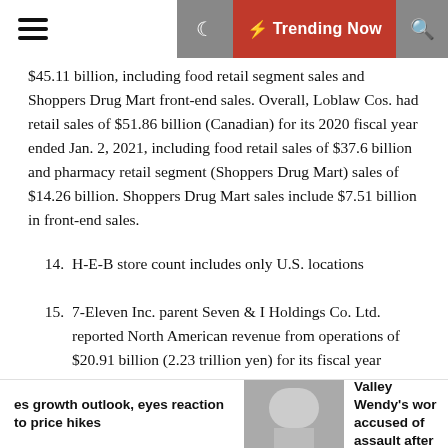☰  🌙  ⚡ Trending Now  🔍
$45.11 billion, including food retail segment sales and Shoppers Drug Mart front-end sales. Overall, Loblaw Cos. had retail sales of $51.86 billion (Canadian) for its 2020 fiscal year ended Jan. 2, 2021, including food retail sales of $37.6 billion and pharmacy retail segment (Shoppers Drug Mart) sales of $14.26 billion. Shoppers Drug Mart sales include $7.51 billion in front-end sales.
14. H-E-B store count includes only U.S. locations
15. 7-Eleven Inc. parent Seven & I Holdings Co. Ltd. reported North American revenue from operations of $20.91 billion (2.23 trillion yen) for its fiscal year ended Feb. 28, 2021.
es growth outlook, eyes reaction to price hikes | Prescott Valley Wendy's wor accused of assault after cust